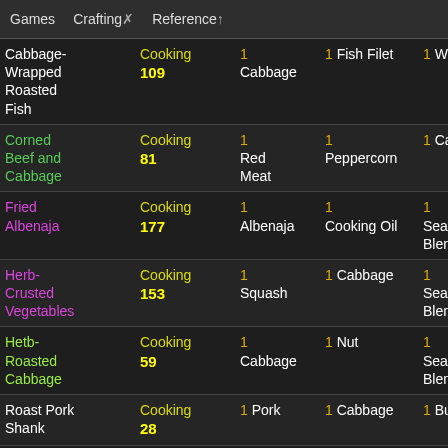Games   Crafting✗   Reference↑
| Name | Skill | Ing1 | Ing2 | Ing3 | Ing4 |
| --- | --- | --- | --- | --- | --- |
| Cabbage-Wrapped Roasted Fish | Cooking 109 | 1 Cabbage | 1 Fish Filet | 1 Water | 1 Se... Bl... |
| Corned Beef and Cabbage | Cooking 81 | 1 Red Meat | 1 Peppercorn | 1 Cabbage | 1 C... |
| Fried Albenaja | Cooking 177 | 1 Albenaja | 1 Cooking Oil | 1 Seasoning Blend | 1 C... |
| Herb-Crusted Vegetables | Cooking 153 | 1 Squash | 1 Cabbage | 1 Seasoning Blend | 1 C... |
| Hetb-Roasted Cabbage | Cooking 59 | 1 Cabbage | 1 Nut | 1 Seasoning Blend | 1 R... |
| Roast Pork Shank | Cooking 28 | 1 Pork | 1 Cabbage | 1 Butter | 1 S... |
| Roasted Cabbage | Cooking 10 | 1 Cabbage | 1 Cooking Oil | 1 Dill |  |